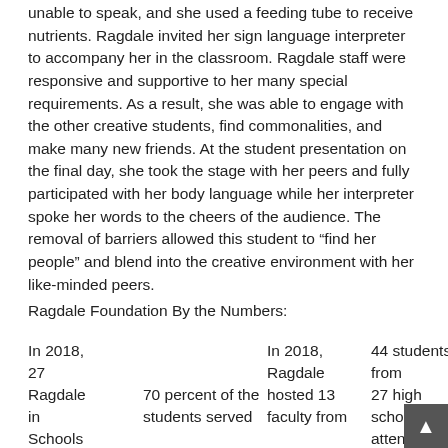unable to speak, and she used a feeding tube to receive nutrients. Ragdale invited her sign language interpreter to accompany her in the classroom. Ragdale staff were responsive and supportive to her many special requirements. As a result, she was able to engage with the other creative students, find commonalities, and make many new friends. At the student presentation on the final day, she took the stage with her peers and fully participated with her body language while her interpreter spoke her words to the cheers of the audience. The removal of barriers allowed this student to “find her people” and blend into the creative environment with her like-minded peers.
Ragdale Foundation By the Numbers:
In 2018, 27 Ragdale in Schools
70 percent of the students served
In 2018, Ragdale hosted 13 faculty from
44 students from 27 high schools attended
Rag 30 fell